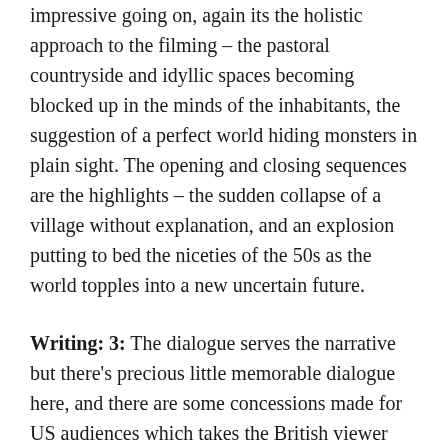impressive going on, again its the holistic approach to the filming – the pastoral countryside and idyllic spaces becoming blocked up in the minds of the inhabitants, the suggestion of a perfect world hiding monsters in plain sight. The opening and closing sequences are the highlights – the sudden collapse of a village without explanation, and an explosion putting to bed the niceties of the 50s as the world topples into a new uncertain future.
Writing: 3: The dialogue serves the narrative but there's precious little memorable dialogue here, and there are some concessions made for US audiences which takes the British viewer out of the story momentarily – language which wouldn't be used in an English town. It's the overall idea and execution where the screenplay's strength lies, but the majority of the credit must go to the